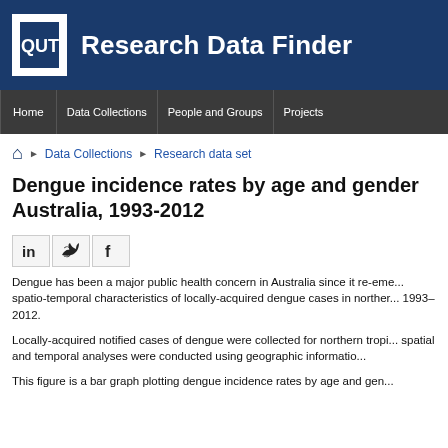QUT Research Data Finder
Home | Data Collections | People and Groups | Projects
Home > Data Collections > Research data set
Dengue incidence rates by age and gender Australia, 1993-2012
[Figure (other): Social sharing icons: LinkedIn, Twitter, Facebook]
Dengue has been a major public health concern in Australia since it re-emerged. spatio-temporal characteristics of locally-acquired dengue cases in northern 1993–2012.
Locally-acquired notified cases of dengue were collected for northern tropical spatial and temporal analyses were conducted using geographic information...
This figure is a bar graph plotting dengue incidence rates by age and gender...